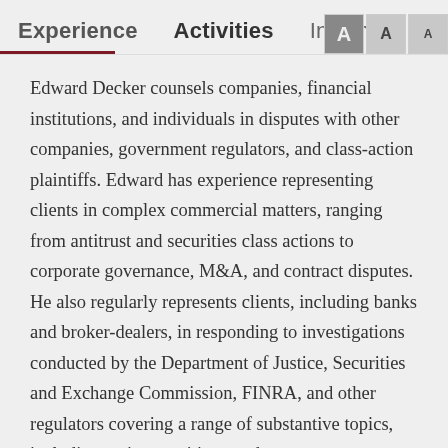Experience  Activities  Insights  Personal
Edward Decker counsels companies, financial institutions, and individuals in disputes with other companies, government regulators, and class-action plaintiffs. Edward has experience representing clients in complex commercial matters, ranging from antitrust and securities class actions to corporate governance, M&A, and contract disputes. He also regularly represents clients, including banks and broker-dealers, in responding to investigations conducted by the Department of Justice, Securities and Exchange Commission, FINRA, and other regulators covering a range of substantive topics, including anticompetitive conduct, corporate scandal, bribery, and financial